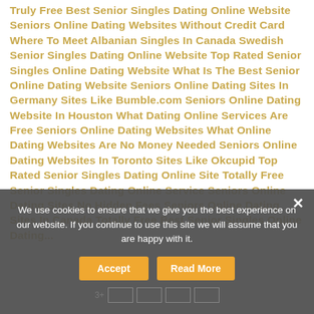Truly Free Best Senior Singles Dating Online Website Seniors Online Dating Websites Without Credit Card Where To Meet Albanian Singles In Canada Swedish Senior Singles Dating Online Website Top Rated Senior Singles Online Dating Website What Is The Best Senior Online Dating Website Seniors Online Dating Sites In Germany Sites Like Bumble.com Seniors Online Dating Website In Houston What Dating Online Services Are Free Seniors Online Dating Websites What Online Dating Websites Are No Money Needed Seniors Online Dating Websites In Toronto Sites Like Okcupid Top Rated Senior Singles Dating Online Site Totally Free Senior Singles Dating Online Service Seniors Online Dating Sites No Hidden Fees Seniors Online Dating Sites In Canada Totally Free Best Senior Singles Online Dating...
We use cookies to ensure that we give you the best experience on our website. If you continue to use this site we will assume that you are happy with it.